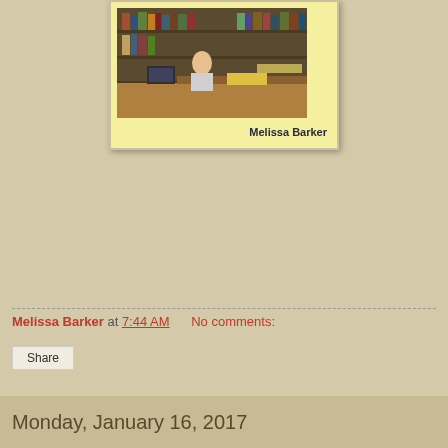[Figure (photo): Book cover with yellow background showing a photo of a person at a library/archive desk with bookshelves, authored by Melissa Barker]
Melissa Barker at 7:44 AM   No comments:
Share
Monday, January 16, 2017